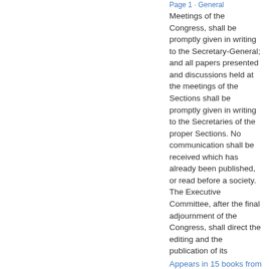Page 1 · General
Meetings of the Congress, shall be promptly given in writing to the Secretary-General; and all papers presented and discussions held at the meetings of the Sections shall be promptly given in writing to the Secretaries of the proper Sections. No communication shall be received which has already been published, or read before a society. The Executive Committee, after the final adjournment of the Congress, shall direct the editing and the publication of its
Appears in 15 books from 1883-1929